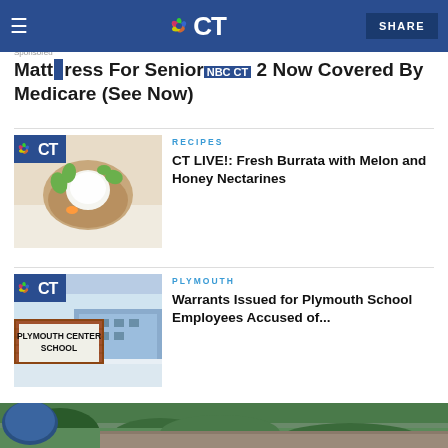CT NBC Connecticut — SHARE
Mattress For Seniors 2 Now Covered By Medicare (See Now)
[Figure (photo): NBC CT logo badge over a colorful burrata dish with melon, flowers, and greens]
RECIPES
CT LIVE!: Fresh Burrata with Melon and Honey Nectarines
[Figure (photo): NBC CT logo badge over Plymouth Center School sign in winter snow]
PLYMOUTH
Warrants Issued for Plymouth School Employees Accused of...
[Figure (photo): Partial bottom image of outdoor scene]